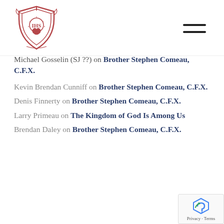[Logo] [Hamburger menu]
Michael Gosselin (SJ ??) on Brother Stephen Comeau, C.F.X.
Kevin Brendan Cunniff on Brother Stephen Comeau, C.F.X.
Denis Finnerty on Brother Stephen Comeau, C.F.X.
Larry Primeau on The Kingdom of God Is Among Us
Brendan Daley on Brother Stephen Comeau, C.F.X.